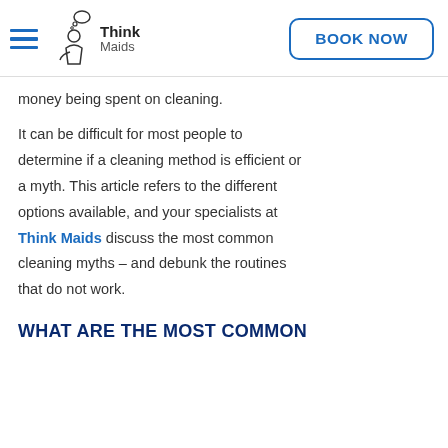Think Maids | BOOK NOW
money being spent on cleaning.
It can be difficult for most people to determine if a cleaning method is efficient or a myth. This article refers to the different options available, and your specialists at Think Maids discuss the most common cleaning myths – and debunk the routines that do not work.
WHAT ARE THE MOST COMMON